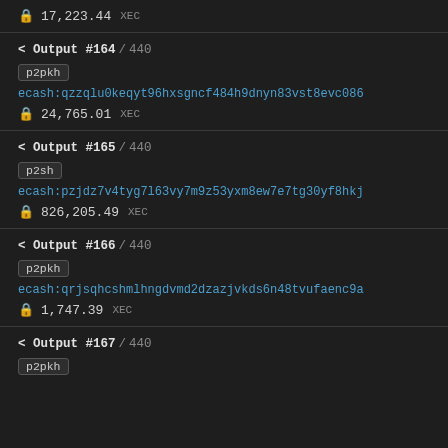17,223.44 XEC
< Output #164 / 440
p2pkh
ecash:qzzqlu0keqyt96hxsgncf484h9dnyn83vst8evc086
24,765.01 XEC
< Output #165 / 440
p2sh
ecash:pzjdz7v4tyg7l63vy7m9z53yxm8ew7e7tg30yf8hkj
826,205.49 XEC
< Output #166 / 440
p2pkh
ecash:qrjsqhcshmlhngdvmd2dzazjvkds6n48tvufaenc9a
1,747.39 XEC
< Output #167 / 440
p2pkh